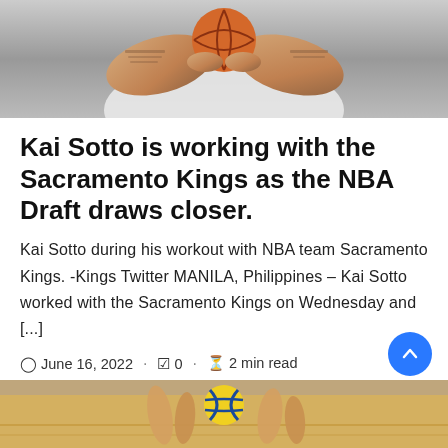[Figure (photo): Basketball player holding a basketball, showing tattooed arms and hands gripping the ball, cropped view from torso up]
Kai Sotto is working with the Sacramento Kings as the NBA Draft draws closer.
Kai Sotto during his workout with NBA team Sacramento Kings. -Kings Twitter MANILA, Philippines – Kai Sotto worked with the Sacramento Kings on Wednesday and [...]
June 16, 2022 · 0 · 2 min read
[Figure (photo): Basketball game scene showing hands reaching up near a basketball, court visible]